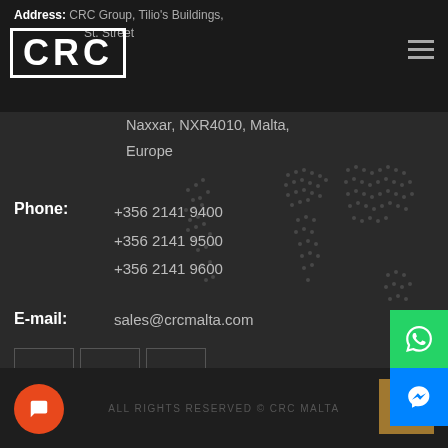CRC logo and navigation header
Address: CRC Group, Tilio's Buildings, St. Street, Naxxar, NXR4010, Malta, Europe
Phone: +356 2141 9400 / +356 2141 9500 / +356 2141 9600
E-mail: sales@crcmalta.com
[Figure (other): Social media icon buttons: Facebook, Instagram, YouTube, Pinterest, LinkedIn, Twitter]
[Figure (other): World map dotted watermark background]
ALL RIGHTS RESERVED © CRC MALTA